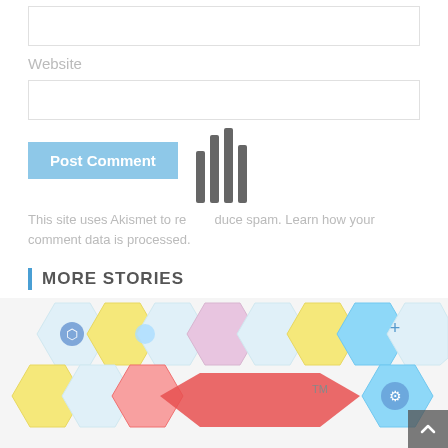Website
[Figure (screenshot): Comment form with Website label, input field, Post Comment button, and Akismet spam notice]
Post Comment
This site uses Akismet to reduce spam. Learn how your comment data is processed.
MORE STORIES
[Figure (photo): Colorful hexagonal technology icons pattern with healthcare, technology symbols. Partial view showing TM mark and a red arrow shape.]